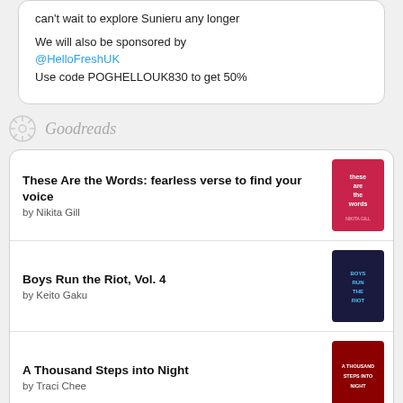can't wait to explore Suntenu any longer

We will also be sponsored by @HelloFreshUK
Use code POGHELLOUK830 to get 50%
Goodreads
These Are the Words: fearless verse to find your voice by Nikita Gill
Boys Run the Riot, Vol. 4 by Keito Gaku
A Thousand Steps into Night by Traci Chee
Heartstopper: Volume Four by Alice Oseman